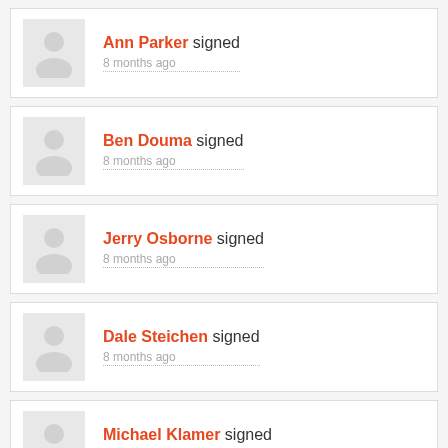Ann Parker signed — 8 months ago
Ben Douma signed — 8 months ago
Jerry Osborne signed — 8 months ago
Dale Steichen signed — 8 months ago
Michael Klamer signed — 8 months ago